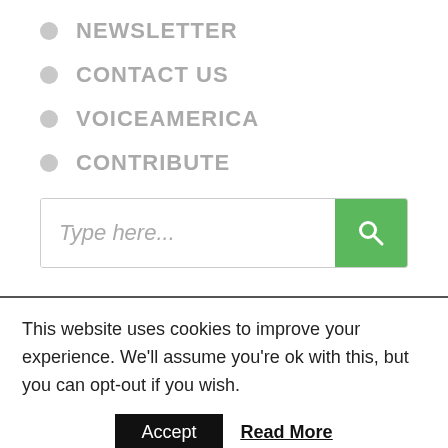NEWSLETTER
CONTACT US
VOICEAMERICA
CONTRIBUTE
[Figure (screenshot): Search box with placeholder text 'Type here...' and a green search button with magnifying glass icon]
This website uses cookies to improve your experience. We'll assume you're ok with this, but you can opt-out if you wish.
Accept  Read More